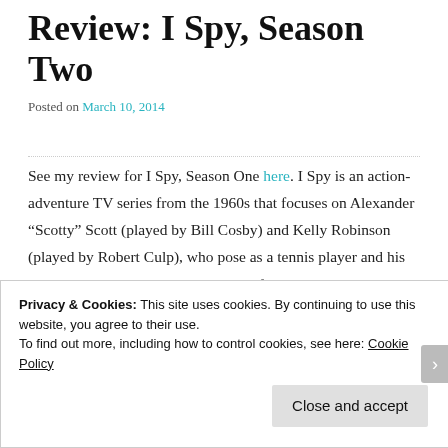Review: I Spy, Season Two
Posted on March 10, 2014
See my review for I Spy, Season One here. I Spy is an action-adventure TV series from the 1960s that focuses on Alexander “Scotty” Scott (played by Bill Cosby) and Kelly Robinson (played by Robert Culp), who pose as a tennis player and his trainer, but are actually secret agents for the U.S. government.
Privacy & Cookies: This site uses cookies. By continuing to use this website, you agree to their use.
To find out more, including how to control cookies, see here: Cookie Policy